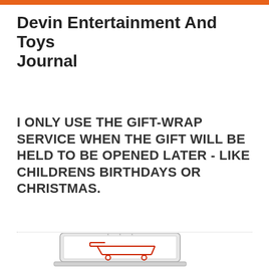Devin Entertainment And Toys Journal
I ONLY USE THE GIFT-WRAP SERVICE WHEN THE GIFT WILL BE HELD TO BE OPENED LATER - LIKE CHILDRENS BIRTHDAYS OR CHRISTMAS.
[Figure (illustration): Partial view of a laptop computer with a shopping cart image on screen, shown at bottom of page.]